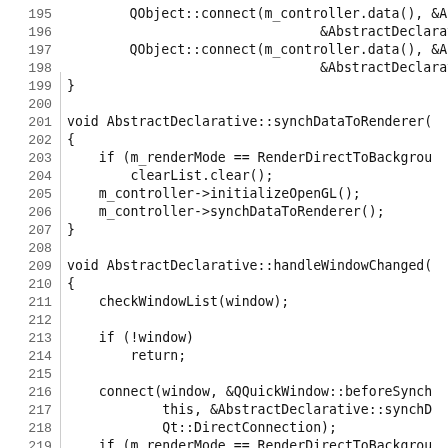[Figure (screenshot): Source code listing showing C++ implementation of AbstractDeclarative class methods, lines 195-224, including synchDataToRenderer and handleWindowChanged functions.]